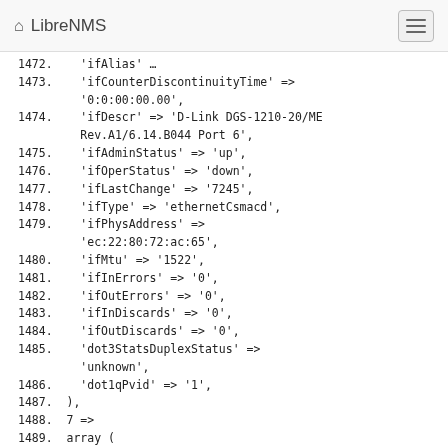LibreNMS
1473.    'ifCounterDiscontinuityTime' => '0:0:00:00.00',
1474.    'ifDescr' => 'D-Link DGS-1210-20/ME Rev.A1/6.14.B044 Port 6',
1475.    'ifAdminStatus' => 'up',
1476.    'ifOperStatus' => 'down',
1477.    'ifLastChange' => '7245',
1478.    'ifType' => 'ethernetCsmacd',
1479.    'ifPhysAddress' => 'ec:22:80:72:ac:65',
1480.    'ifMtu' => '1522',
1481.    'ifInErrors' => '0',
1482.    'ifOutErrors' => '0',
1483.    'ifInDiscards' => '0',
1484.    'ifOutDiscards' => '0',
1485.    'dot3StatsDuplexStatus' => 'unknown',
1486.    'dot1qPvid' => '1',
1487.  ),
1488.  7 =>
1489.  array (
1490.    'ifName' => '1/7',
1491.    'ifInMulticastPkts' => '0',
1492.    'ifInBroadcastPkts' => '0',